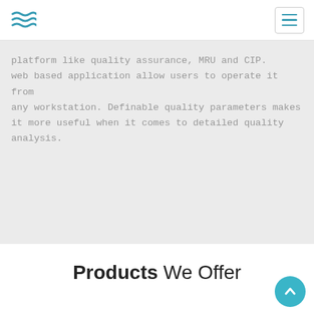platform like quality assurance, MRU and CIP. web based application allow users to operate it from any workstation. Definable quality parameters makes it more useful when it comes to detailed quality analysis.
Products We Offer